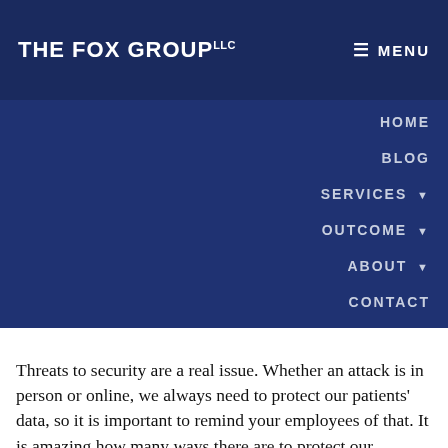THE FOX GROUP LLC
HOME
BLOG
SERVICES ▼
OUTCOME ▼
ABOUT ▼
CONTACT
Threats to security are a real issue. Whether an attack is in person or online, we always need to protect our patients' data, so it is important to remind your employees of that. It is amazing how many ways there are to protect our businesses, and these are only the required pieces to follow the rules right now.